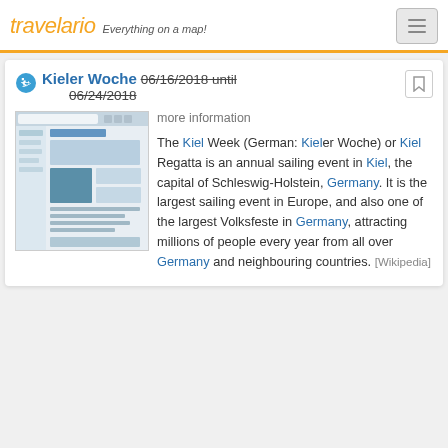travelario — Everything on a map!
Kieler Woche 06/16/2018 until 06/24/2018
[Figure (screenshot): Screenshot of a webpage about Kieler Woche]
more information
The Kiel Week (German: Kieler Woche) or Kiel Regatta is an annual sailing event in Kiel, the capital of Schleswig-Holstein, Germany. It is the largest sailing event in Europe, and also one of the largest Volksfeste in Germany, attracting millions of people every year from all over Germany and neighbouring countries. [Wikipedia]